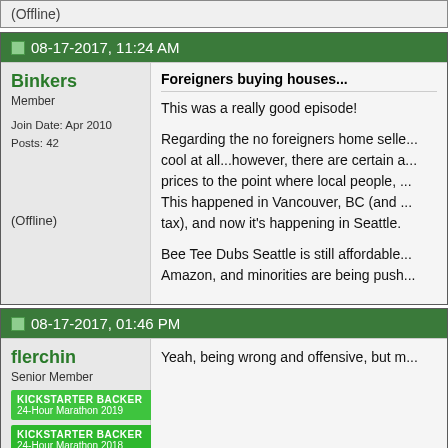(Offline)
08-17-2017, 11:24 AM
Binkers
Member
Join Date: Apr 2010
Posts: 42
(Offline)
Foreigners buying houses...

This was a really good episode!

Regarding the no foreigners home selle... cool at all...however, there are certain a... prices to the point where local people, ... This happened in Vancouver, BC (and ... tax), and now it's happening in Seattle.

Bee Tee Dubs Seattle is still affordable... Amazon, and minorities are being push...
08-17-2017, 01:46 PM
flerchin
Senior Member
[Figure (infographic): Kickstarter Backer 24-Hour Marathon 2019 badge (green)]
[Figure (infographic): Kickstarter Backer 24-Hour Marathon 2018 badge (green)]
[Figure (infographic): #FUCKTUMORS 24-Hour Marathon 2017 badge (red/orange)]
[Figure (infographic): Kickstarter Backer 47-Hour Marathon 2016 badge (yellow)]
Yeah, being wrong and offensive, but m...